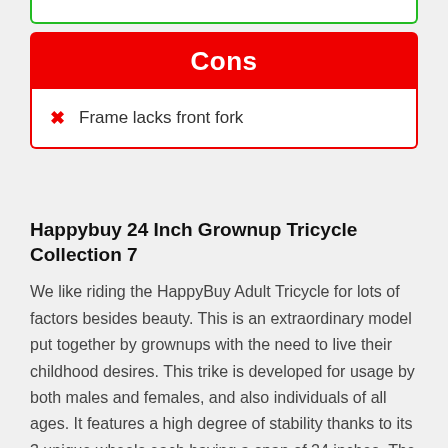✗ Frame lacks front fork
Happybuy 24 Inch Grownup Tricycle Collection 7
We like riding the HappyBuy Adult Tricycle for lots of factors besides beauty. This is an extraordinary model put together by grownups with the need to live their childhood desires. This trike is developed for usage by both males and females, and also individuals of all ages. It features a high degree of stability thanks to its 3 unique wheels each having a span of 24 inches. The structure of this trike is developed with high tensile steel material, as well as